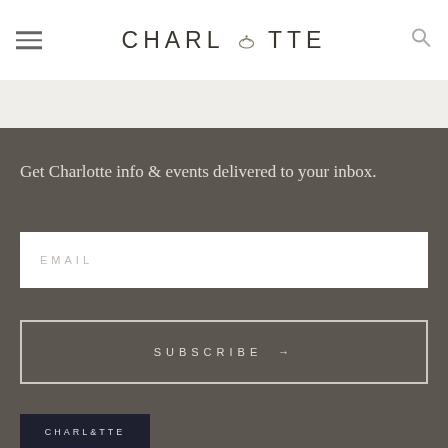CHARLOTTE
Get Charlotte info & events delivered to your inbox.
EMAIL
SUBSCRIBE →
[Figure (screenshot): Charlotte magazine thumbnail image showing city skyline with Charlotte logo overlay]